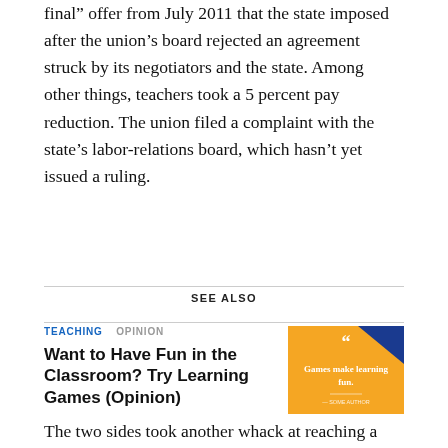final” offer from July 2011 that the state imposed after the union’s board rejected an agreement struck by its negotiators and the state. Among other things, teachers took a 5 percent pay reduction. The union filed a complaint with the state’s labor-relations board, which hasn’t yet issued a ruling.
SEE ALSO
TEACHING   OPINION
Want to Have Fun in the Classroom? Try Learning Games (Opinion)
[Figure (illustration): Orange and blue graphic with quotation mark and text 'Games make learning fun.']
The two sides took another whack at reaching a contract this January, but the state’s teachers didn’t ratify the